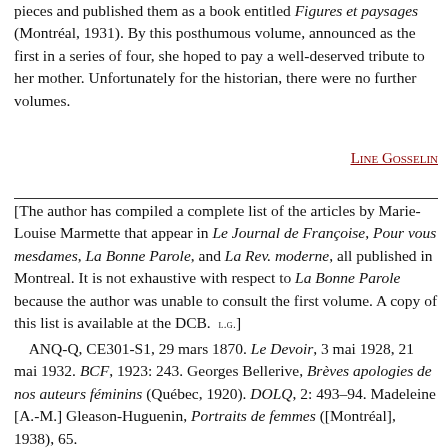pieces and published them as a book entitled Figures et paysages (Montréal, 1931). By this posthumous volume, announced as the first in a series of four, she hoped to pay a well-deserved tribute to her mother. Unfortunately for the historian, there were no further volumes.
Line Gosselin
[The author has compiled a complete list of the articles by Marie-Louise Marmette that appear in Le Journal de Françoise, Pour vous mesdames, La Bonne Parole, and La Rev. moderne, all published in Montreal. It is not exhaustive with respect to La Bonne Parole because the author was unable to consult the first volume. A copy of this list is available at the DCB.  L.G.]
ANQ-Q, CE301-S1, 29 mars 1870. Le Devoir, 3 mai 1928, 21 mai 1932. BCF, 1923: 243. Georges Bellerive, Brèves apologies de nos auteurs féminins (Québec, 1920). DOLQ, 2: 493–94. Madeleine [A.-M.] Gleason-Huguenin, Portraits de femmes ([Montréal], 1938), 65.